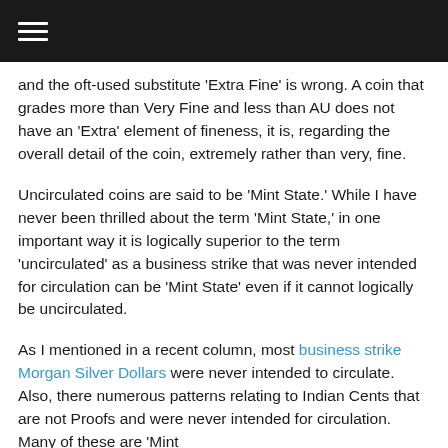≡
and the oft-used substitute 'Extra Fine' is wrong. A coin that grades more than Very Fine and less than AU does not have an 'Extra' element of fineness, it is, regarding the overall detail of the coin, extremely rather than very, fine.
Uncirculated coins are said to be 'Mint State.' While I have never been thrilled about the term 'Mint State,' in one important way it is logically superior to the term 'uncirculated' as a business strike that was never intended for circulation can be 'Mint State' even if it cannot logically be uncirculated.
As I mentioned in a recent column, most business strike Morgan Silver Dollars were never intended to circulate. Also, there numerous patterns relating to Indian Cents that are not Proofs and were never intended for circulation. Many of these are 'Mint